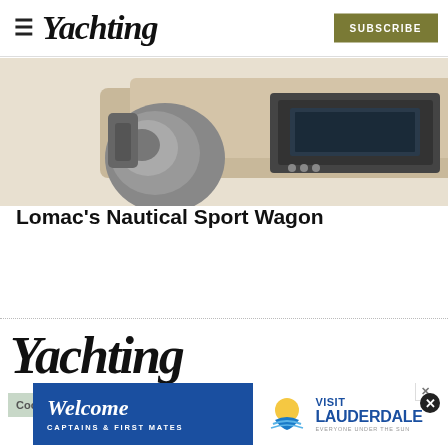≡ Yachting | SUBSCRIBE
[Figure (photo): Partial image of a boat or nautical equipment, showing what appears to be an outboard motor and dashboard area with tan/beige trim]
Lomac's Nautical Sport Wagon
Yachting
[Figure (advertisement): Advertisement banner: Welcome Captains & First Mates | Visit Lauderdale - Everyone Under The Sun, with sun/water logo. Close button (X) in top right.]